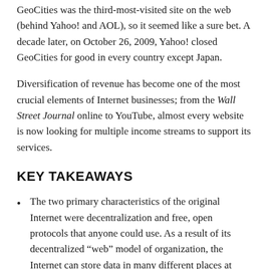GeoCities was the third-most-visited site on the web (behind Yahoo! and AOL), so it seemed like a sure bet. A decade later, on October 26, 2009, Yahoo! closed GeoCities for good in every country except Japan.
Diversification of revenue has become one of the most crucial elements of Internet businesses; from the Wall Street Journal online to YouTube, almost every website is now looking for multiple income streams to support its services.
KEY TAKEAWAYS
The two primary characteristics of the original Internet were decentralization and free, open protocols that anyone could use. As a result of its decentralized “web” model of organization, the Internet can store data in many different places at once. This makes it very useful for backing up data and very difficult to destroy data that might be unwanted.